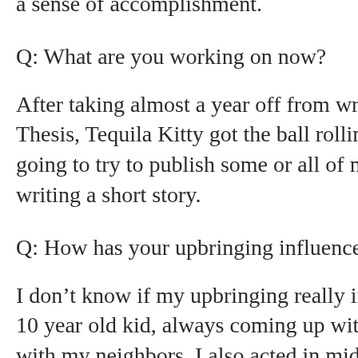a sense of accomplishment.
Q: What are you working on now?
After taking almost a year off from writing after I was burnt out from Thesis, Tequila Kitty got the ball rolling and I'm excited to start writ going to try to publish some or all of my poetry collection, and I'm t writing a short story.
Q: How has your upbringing influenced your work, if at all?
I don't know if my upbringing really influenced it at all... I just reme 10 year old kid, always coming up with make-believe scenarios in th with my neighbors. I also acted in middle school. I love a good story
Q: What inspires you the most (e.g. music, landscape/nature, written etc.)?
I'd say life. Weird stuff. Every time I see weird or creepy person, I w